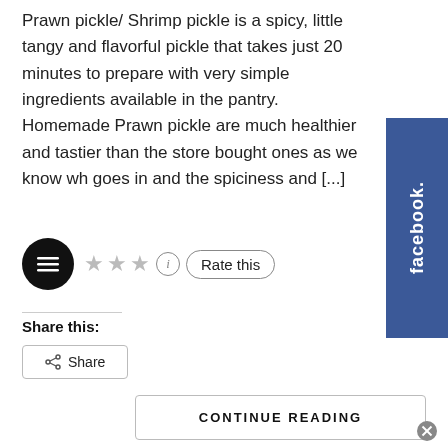Prawn pickle/ Shrimp pickle is a spicy, little tangy and flavorful pickle that takes just 20 minutes to prepare with very simple ingredients available in the pantry. Homemade Prawn pickle are much healthier and tastier than the store bought ones as we know wh goes in and the spiciness and [...]
[Figure (other): Facebook sidebar button (blue, vertical text 'facebook')]
[Figure (other): Black circle menu icon with three horizontal lines, followed by three grey stars, an info circle, and a 'Rate this' bordered button]
Share this:
[Figure (other): Share button with share icon]
CONTINUE READING
[Figure (other): Close/X circle icon at bottom right]